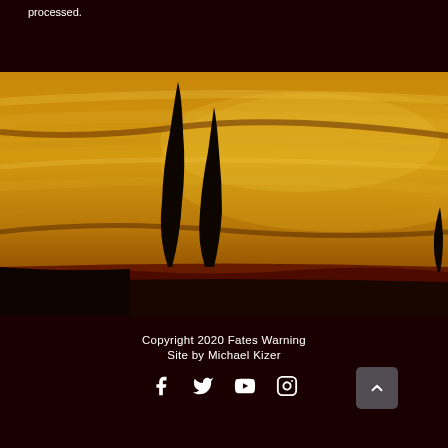processed.
[Figure (photo): Dramatic landscape photo with golden/amber sky and two dark cypress tree silhouettes against a dark foreground landmass, with warm golden streaked cloud formations]
Copyright 2020 Fates Warning
Site by Michael Kizer
[Figure (other): Social media icons: Facebook, Twitter, YouTube, Instagram, and a scroll-to-top button]